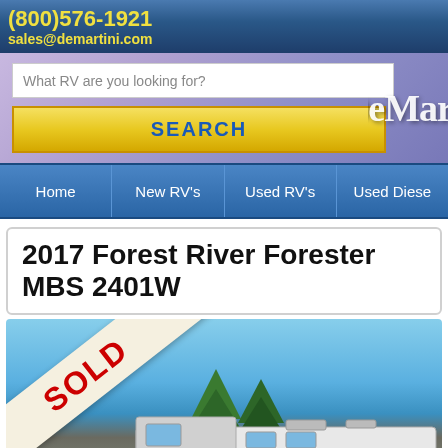(800)576-1921 sales@demartini.com
What RV are you looking for?
SEARCH
DeMartini
Home | New RV's | Used RV's | Used Diese
2017 Forest River Forester MBS 2401W
[Figure (photo): Photo of a 2017 Forest River Forester MBS 2401W RV with a SOLD banner overlaid diagonally in the upper left, showing the RV against a blue sky with trees in the background.]